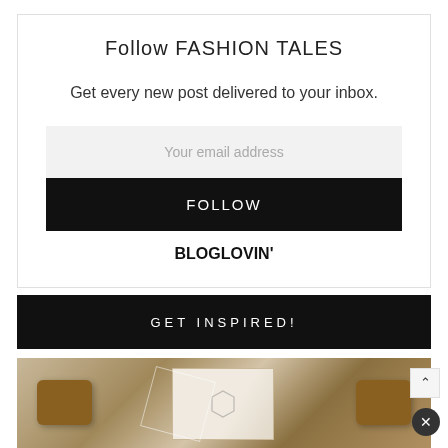Follow FASHION TALES
Get every new post delivered to your inbox.
Your email address
FOLLOW
BLOGLOVIN'
GET INSPIRED!
[Figure (photo): Overhead view of fashion/lifestyle items including marble-patterned accessories and brown leather cases on a light background]